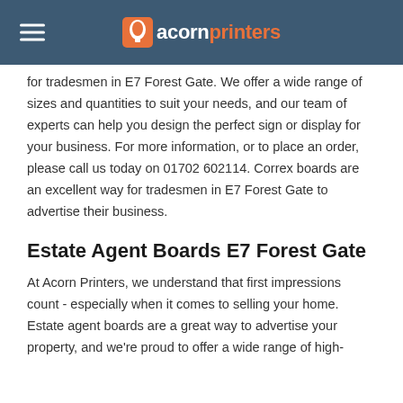acornprinters
for tradesmen in E7 Forest Gate. We offer a wide range of sizes and quantities to suit your needs, and our team of experts can help you design the perfect sign or display for your business. For more information, or to place an order, please call us today on 01702 602114. Correx boards are an excellent way for tradesmen in E7 Forest Gate to advertise their business.
Estate Agent Boards E7 Forest Gate
At Acorn Printers, we understand that first impressions count - especially when it comes to selling your home. Estate agent boards are a great way to advertise your property, and we're proud to offer a wide range of high-quality boards to estate agents in E7 Forest Gate.